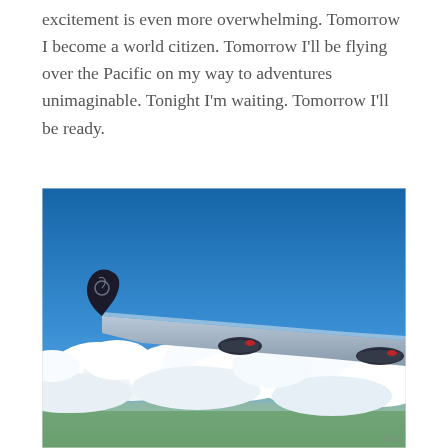excitement is even more overwhelming. Tomorrow I become a world citizen. Tomorrow I'll be flying over the Pacific on my way to adventures unimaginable. Tonight I'm waiting. Tomorrow I'll be ready.
[Figure (photo): View from an airplane window showing the aircraft wing (Air New Zealand livery with koru logo on winglet) above a layer of white clouds, with deep blue sky above and green earth visible far below.]